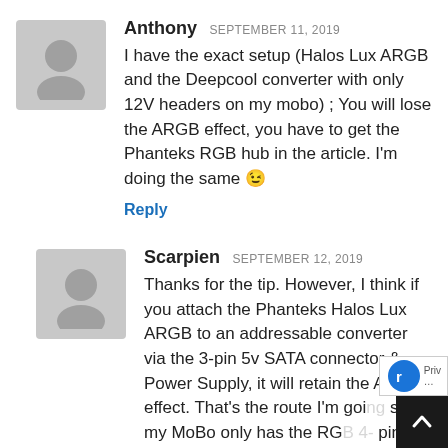Anthony SEPTEMBER 11, 2019
I have the exact setup (Halos Lux ARGB and the Deepcool converter with only 12V headers on my mobo) ; You will lose the ARGB effect, you have to get the Phanteks RGB hub in the article. I'm doing the same 😉
Reply
Scarpien SEPTEMBER 12, 2019
Thanks for the tip. However, I think if you attach the Phanteks Halos Lux ARGB to an addressable converter via the 3-pin 5v SATA connector & Power Supply, it will retain the ARGB effect. That's the route I'm going since my MoBo only has the RG... pin hub.